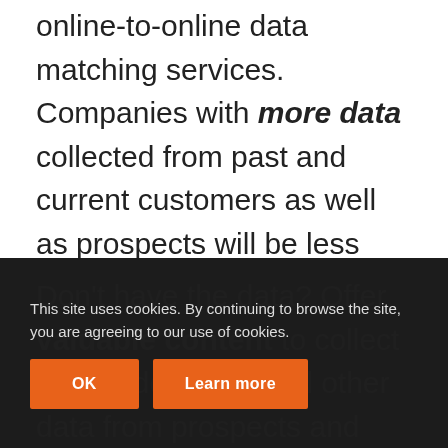online-to-online data matching services. Companies with more data collected from past and current customers as well as prospects will be less impacted by the elimination of third-party cookies. If your database also includes past web behavior (blog articles viewed, past purchases, past emails clicked) you'll even be able to tailor your offers to deliver on a better customer experience.
Don't have the data? Offer valuable content to collect email addresses and other data from prospects and encourage customers with relevant offers. Map out your buyer
This site uses cookies. By continuing to browse the site, you are agreeing to our use of cookies.